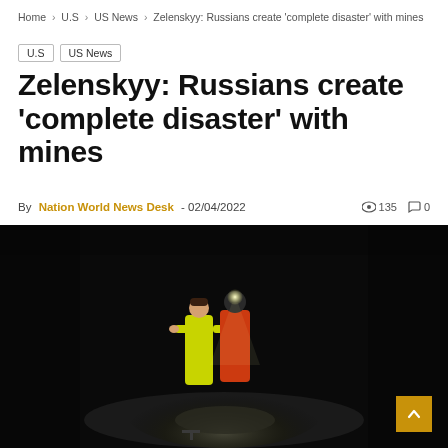Home › U.S › US News › Zelenskyy: Russians create 'complete disaster' with mines
U.S
US News
Zelenskyy: Russians create 'complete disaster' with mines
By Nation World News Desk - 02/04/2022  135  0
[Figure (photo): Two people standing in a dark environment, one wearing a yellow high-visibility suit and another in a red/orange jacket with a headlamp, illuminated by a spotlight from below, with a dark background]